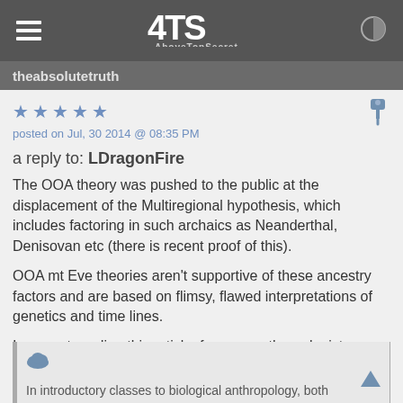ATS AboveTopSecret
theabsolutetruth
★ ★ ★ ★ ★
posted on Jul, 30 2014 @ 08:35 PM
a reply to: LDragonFire
The OOA theory was pushed to the public at the displacement of the Multiregional hypothesis, which includes factoring in such archaics as Neanderthal, Denisovan etc (there is recent proof of this).
OOA mt Eve theories aren't supportive of these ancestry factors and are based on flimsy, flawed interpretations of genetics and time lines.
I suggest reading this article, from an anthropologist.
www.livinganthropologically.com...
In introductory classes to biological anthropology, both